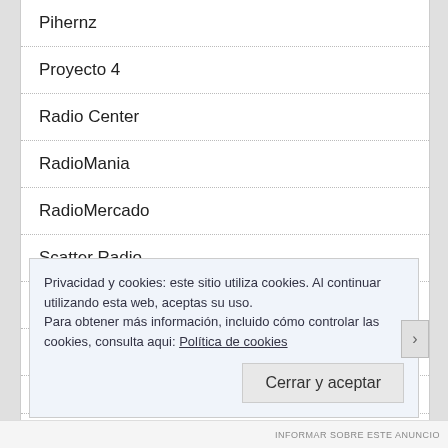Pihernz
Proyecto 4
Radio Center
RadioMania
RadioMercado
Scatter Radio
Sonicolor
Wimo
Privacidad y cookies: este sitio utiliza cookies. Al continuar utilizando esta web, aceptas su uso.
Para obtener más información, incluido cómo controlar las cookies, consulta aqui: Política de cookies
INFORMAR SOBRE ESTE ANUNCIO